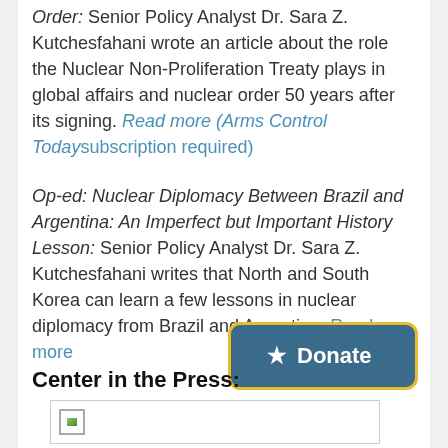Order: Senior Policy Analyst Dr. Sara Z. Kutchesfahani wrote an article about the role the Nuclear Non-Proliferation Treaty plays in global affairs and nuclear order 50 years after its signing. Read more (Arms Control Today subscription required)
Op-ed: Nuclear Diplomacy Between Brazil and Argentina: An Imperfect but Important History Lesson: Senior Policy Analyst Dr. Sara Z. Kutchesfahani writes that North and South Korea can learn a few lessons in nuclear diplomacy from Brazil and Argentina. Read more
Center in the Press:
[Figure (other): Image placeholder box with broken image icon]